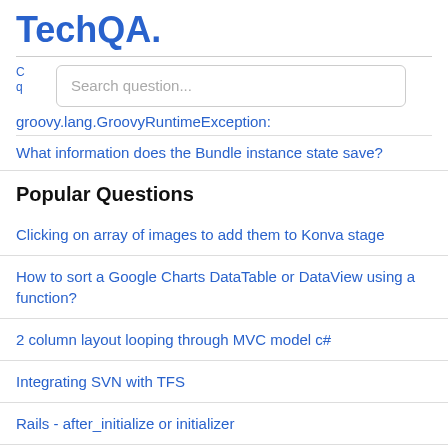TechQA.
groovy.lang.GroovyRuntimeException:
What information does the Bundle instance state save?
Popular Questions
Clicking on array of images to add them to Konva stage
How to sort a Google Charts DataTable or DataView using a function?
2 column layout looping through MVC model c#
Integrating SVN with TFS
Rails - after_initialize or initializer
SoapUI. Add multipart body part using groovy